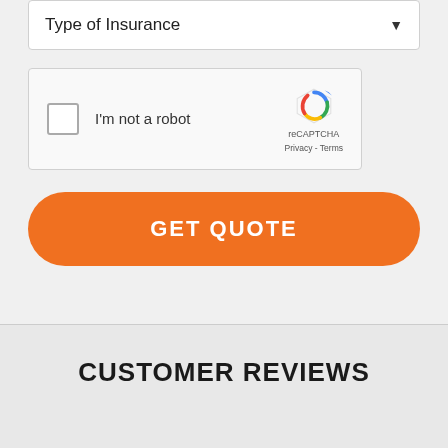Type of Insurance
[Figure (screenshot): reCAPTCHA widget with checkbox labeled 'I'm not a robot' and reCAPTCHA logo with Privacy and Terms links]
GET QUOTE
CUSTOMER REVIEWS